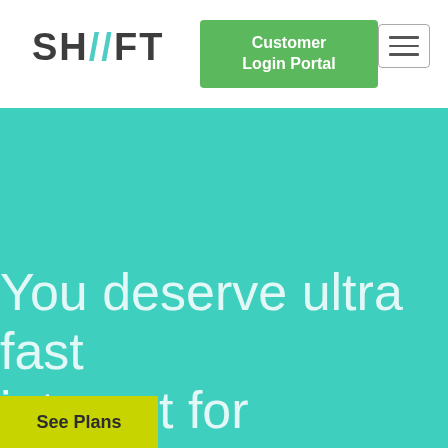[Figure (logo): SHIFT logo with teal double-slash between SH and FT, dark gray text]
Customer Login Portal
[Figure (other): Hamburger menu icon with three horizontal lines inside a rounded rectangle border]
You deserve ultra fast internet for Better Internet for ALL
See Plans